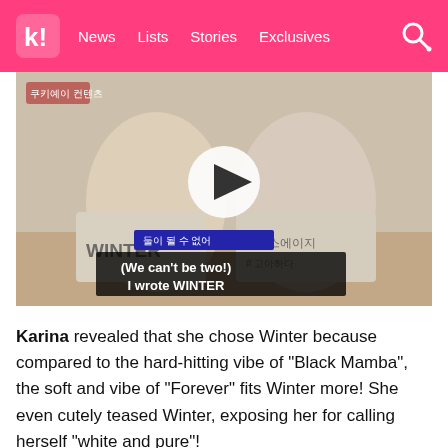K! News Lists Stories Exclusives
[Figure (screenshot): Video thumbnail showing two young women sitting at a table holding whiteboards. One whiteboard reads WINTER and the other has Korean text. A play button overlay is centered on the image. Subtitles at the bottom read: (We can't be two!) I wrote WINTER]
Karina revealed that she chose Winter because compared to the hard-hitting vibe of “Black Mamba”, the soft and vibe of “Forever” fits Winter more! She even cutely teased Winter, exposing her for calling herself “white and pure”!